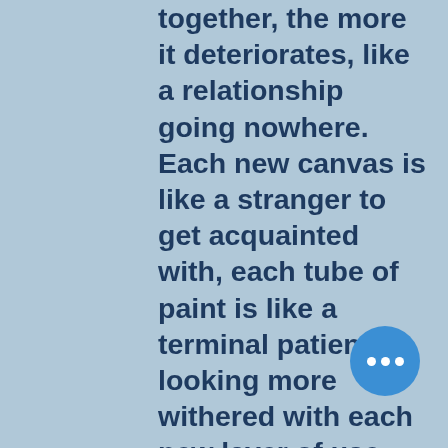together, the more it deteriorates, like a relationship going nowhere. Each new canvas is like a stranger to get acquainted with, each tube of paint is like a terminal patient looking more withered with each new layer of use. The only thing that endures is the easel and even then what sort of interaction can you have with an easel? What does it provide? It keeps the painting upright and in position, like a back support. So even then what personal growth can be sought together. I love art and I love painting but I do envy the relationship musicians can have with their instrument and how painting artists just don't. The
[Figure (other): A circular blue floating action button with three white dots (ellipsis/more options icon) in the bottom right area of the page.]